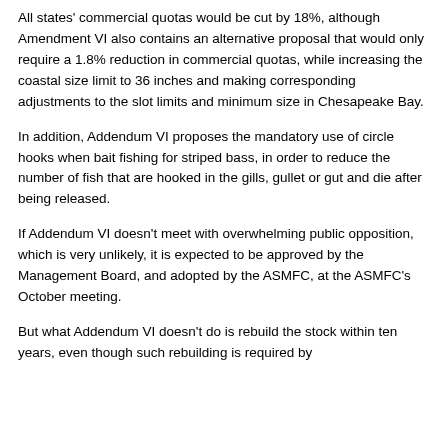All states' commercial quotas would be cut by 18%, although Amendment VI also contains an alternative proposal that would only require a 1.8% reduction in commercial quotas, while increasing the coastal size limit to 36 inches and making corresponding adjustments to the slot limits and minimum size in Chesapeake Bay.
In addition, Addendum VI proposes the mandatory use of circle hooks when bait fishing for striped bass, in order to reduce the number of fish that are hooked in the gills, gullet or gut and die after being released.
If Addendum VI doesn't meet with overwhelming public opposition, which is very unlikely, it is expected to be approved by the Management Board, and adopted by the ASMFC, at the ASMFC's October meeting.
But what Addendum VI doesn't do is rebuild the stock within ten years, even though such rebuilding is required by